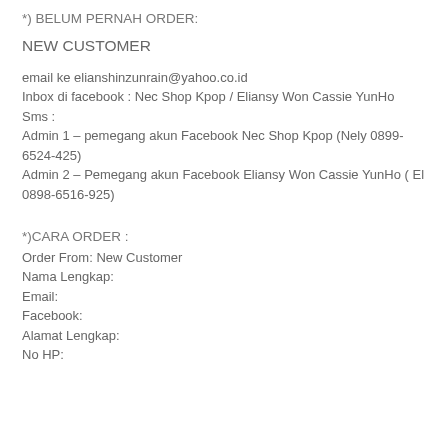*) BELUM PERNAH ORDER:
NEW CUSTOMER
email ke elianshinzunrain@yahoo.co.id
Inbox di facebook : Nec Shop Kpop / Eliansy Won Cassie YunHo
Sms :
Admin 1 – pemegang akun Facebook Nec Shop Kpop (Nely 0899-6524-425)
Admin 2 – Pemegang akun Facebook Eliansy Won Cassie YunHo ( El 0898-6516-925)
*)CARA ORDER :
Order From: New Customer
Nama Lengkap:
Email:
Facebook:
Alamat Lengkap:
No HP: